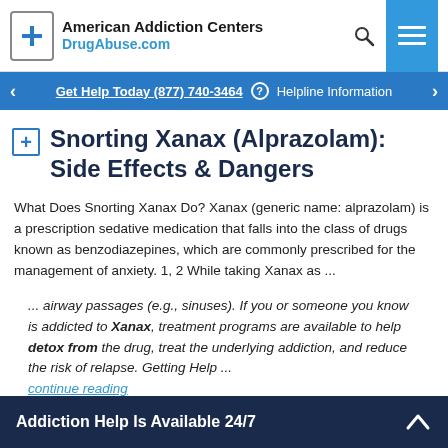American Addiction Centers DrugAbuse.com
Get Help Today (877) 740-3464  Helpline Information
Snorting Xanax (Alprazolam): Side Effects & Dangers
What Does Snorting Xanax Do? Xanax (generic name: alprazolam) is a prescription sedative medication that falls into the class of drugs known as benzodiazepines, which are commonly prescribed for the management of anxiety. 1, 2 While taking Xanax as ...
... airway passages (e.g., sinuses). If you or someone you know is addicted to Xanax, treatment programs are available to help detox from the drug, treat the underlying addiction, and reduce the risk of relapse. Getting Help ... continue reading
Addiction Help Is Available 24/7